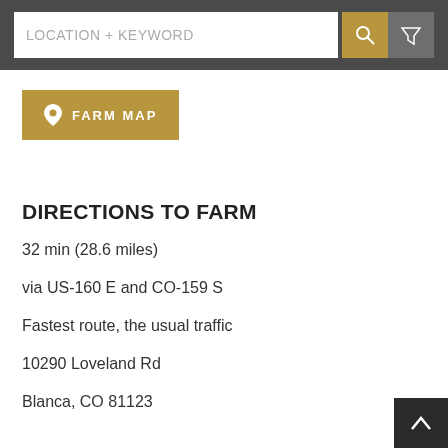LOCATION + KEYWORD
FARM MAP
DIRECTIONS TO FARM
32 min (28.6 miles)
via US-160 E and CO-159 S
Fastest route, the usual traffic
10290 Loveland Rd
Blanca, CO 81123